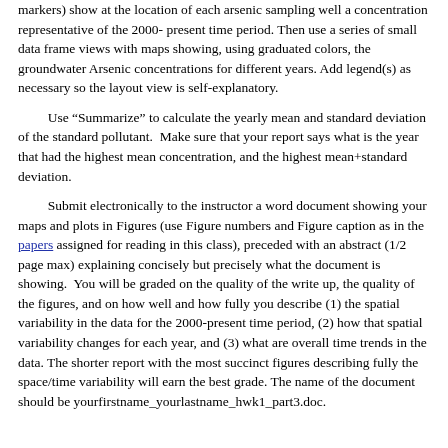markers) show at the location of each arsenic sampling well a concentration representative of the 2000- present time period. Then use a series of small data frame views with maps showing, using graduated colors, the groundwater Arsenic concentrations for different years. Add legend(s) as necessary so the layout view is self-explanatory.
Use “Summarize” to calculate the yearly mean and standard deviation of the standard pollutant.  Make sure that your report says what is the year that had the highest mean concentration, and the highest mean+standard deviation.
Submit electronically to the instructor a word document showing your maps and plots in Figures (use Figure numbers and Figure caption as in the papers assigned for reading in this class), preceded with an abstract (1/2 page max) explaining concisely but precisely what the document is showing.  You will be graded on the quality of the write up, the quality of the figures, and on how well and how fully you describe (1) the spatial variability in the data for the 2000-present time period, (2) how that spatial variability changes for each year, and (3) what are overall time trends in the data. The shorter report with the most succinct figures describing fully the space/time variability will earn the best grade. The name of the document should be yourfirstname_yourlastname_hwk1_part3.doc.